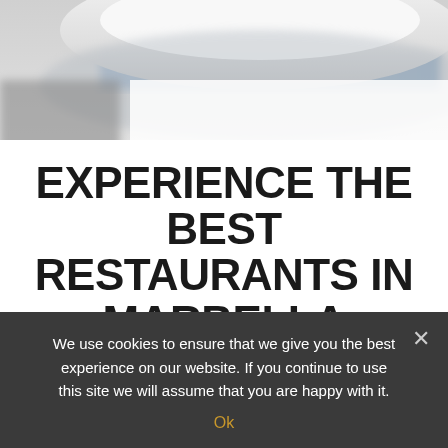[Figure (photo): Close-up photo of a white plate or dish, blurred background with blue accent, top portion of the page]
EXPERIENCE THE BEST RESTAURANTS IN MARBELLA
WHEN STAYING AT QUARTIERS MARBELLA APARTMENTS
We use cookies to ensure that we give you the best experience on our website. If you continue to use this site we will assume that you are happy with it.
Ok